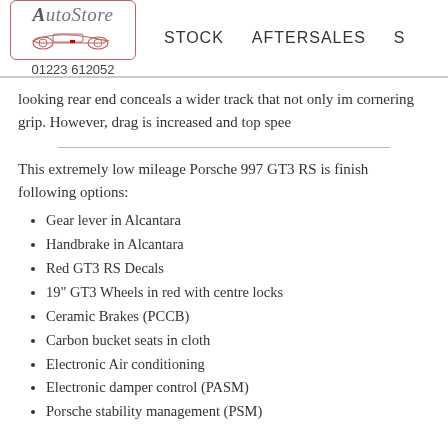AutoStore | 01223 612052 | STOCK | AFTERSALES | S
looking rear end conceals a wider track that not only im cornering grip. However, drag is increased and top spee
This extremely low mileage Porsche 997 GT3 RS is finish following options:
Gear lever in Alcantara
Handbrake in Alcantara
Red GT3 RS Decals
19" GT3 Wheels in red with centre locks
Ceramic Brakes (PCCB)
Carbon bucket seats in cloth
Electronic Air conditioning
Electronic damper control (PASM)
Porsche stability management (PSM)